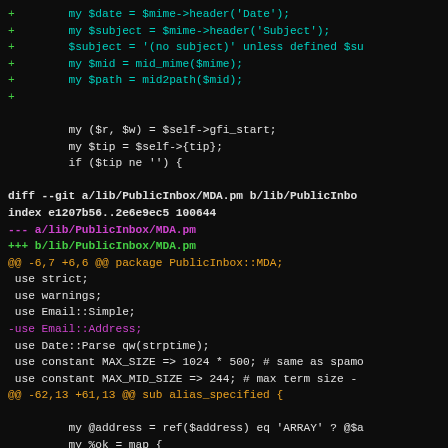[Figure (screenshot): Code diff screenshot showing git diff output for PublicInbox/MDA.pm with cyan added lines (+ prefix), white context lines, magenta removed lines (- prefix), and orange hunk headers. Dark background terminal/code viewer.]